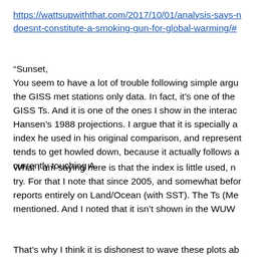https://wattsupwiththat.com/2017/10/01/analysis-says-n doesnt-constitute-a-smoking-gun-for-global-warming/#
“Sunset,
You seem to have a lot of trouble following simple argu the GISS met stations only data. In fact, it’s one of the GISS Ts. And it is one of the ones I show in the interac Hansen’s 1988 projections. I argue that it is specially a index he used in his original comparison, and represent tends to get howled down, because it actually follows a currently touching A.
What I am saying here is that the index is little used, n try. For that I note that since 2005, and somewhat befor reports entirely on Land/Ocean (with SST). The Ts (Me mentioned. And I noted that it isn’t shown in the WUW
That’s why I think it is dishonest to wave these plots ab